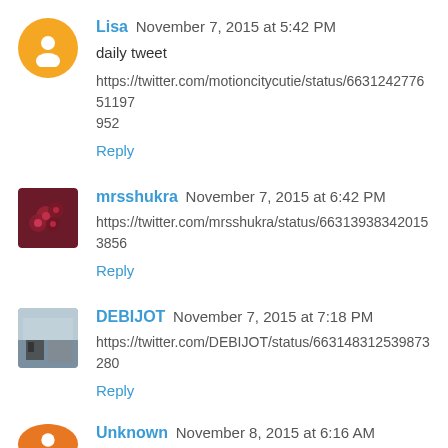Lisa  November 7, 2015 at 5:42 PM
daily tweet
https://twitter.com/motioncitycutie/status/663124277651197952
Reply
mrsshukra  November 7, 2015 at 6:42 PM
https://twitter.com/mrsshukra/status/663139383420153856
Reply
DEBIJOT  November 7, 2015 at 7:18 PM
https://twitter.com/DEBIJOT/status/663148312539873280
Reply
Unknown  November 8, 2015 at 6:16 AM